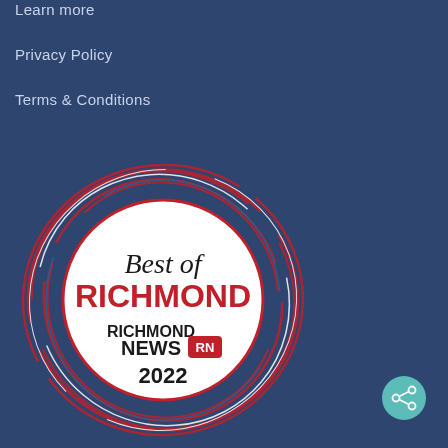Learn more
Privacy Policy
Terms & Conditions
[Figure (logo): Best of Richmond - Richmond News 2022 award logo badge with red and blue spiral swirl design around a circular white badge]
[Figure (other): Teal circular share/social button with share icon]